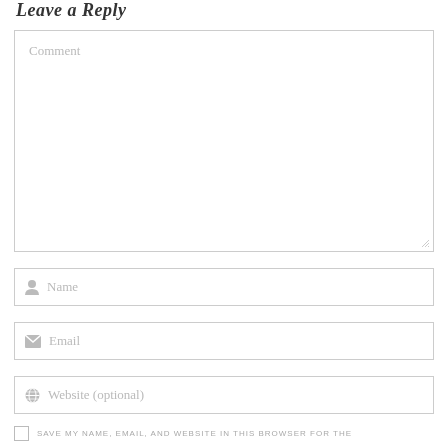Leave a Reply
[Figure (screenshot): Comment text area input field with placeholder text 'Comment' and resize handle at bottom right]
[Figure (screenshot): Name input field with user icon and placeholder text 'Name']
[Figure (screenshot): Email input field with envelope icon and placeholder text 'Email']
[Figure (screenshot): Website input field with globe icon and placeholder text 'Website (optional)']
SAVE MY NAME, EMAIL, AND WEBSITE IN THIS BROWSER FOR THE